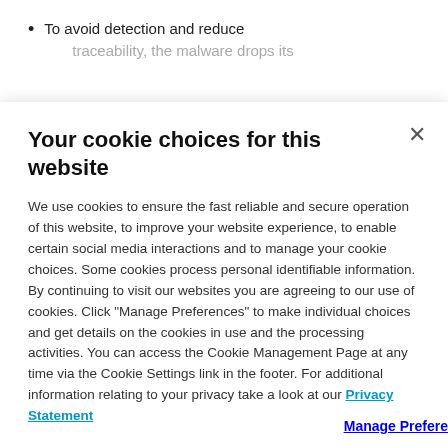To avoid detection and reduce traceability, the malware drops its
Your cookie choices for this website
We use cookies to ensure the fast reliable and secure operation of this website, to improve your website experience, to enable certain social media interactions and to manage your cookie choices. Some cookies process personal identifiable information. By continuing to visit our websites you are agreeing to our use of cookies. Click “Manage Preferences” to make individual choices and get details on the cookies in use and the processing activities. You can access the Cookie Management Page at any time via the Cookie Settings link in the footer. For additional information relating to your privacy take a look at our Privacy Statement
Manage Preferences